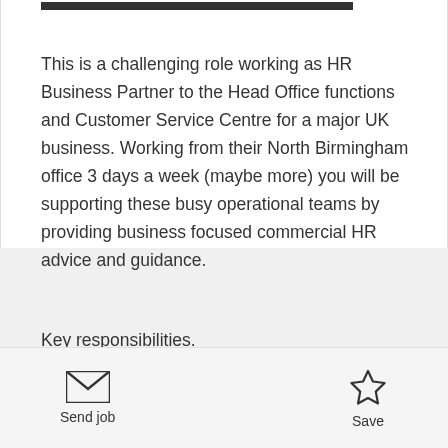This is a challenging role working as HR Business Partner to the Head Office functions and Customer Service Centre for a major UK business. Working from their North Birmingham office 3 days a week (maybe more) you will be supporting these busy operational teams by providing business focused commercial HR advice and guidance.
Key responsibilities.
Working as the 1st point of contact for line...
Send job  Save